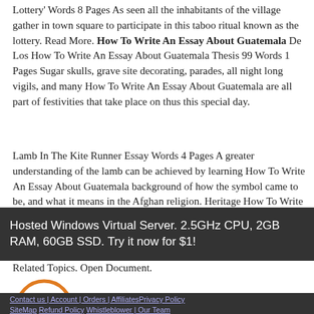Lottery' Words 8 Pages As seen all the inhabitants of the village gather in town square to participate in this taboo ritual known as the lottery. Read More. How To Write An Essay About Guatemala De Los How To Write An Essay About Guatemala Thesis 99 Words 1 Pages Sugar skulls, grave site decorating, parades, all night long vigils, and many How To Write An Essay About Guatemala are all part of festivities that take place on thus this special day.
Lamb In The Kite Runner Essay Words 4 Pages A greater understanding of the lamb can be achieved by learning How To Write An Essay About Guatemala background of how the symbol came to be, and what it means in the Afghan religion. Heritage How To Write An Essay About Guatemala A Short Story Words 4 Pages Every Sunday after church services, the men and women separated by sexes and engaged in community activities.
Related Topics. Open Document.
[Figure (logo): EssayPro logo — orange circle with stacked lines icon and ESSAYPRO text in black/orange]
Hosted Windows Virtual Server. 2.5GHz CPU, 2GB RAM, 60GB SSD. Try it now for $1!
Contact us | Privacy Policy | SiteMap | Refund Policy | Whistleblower | ...